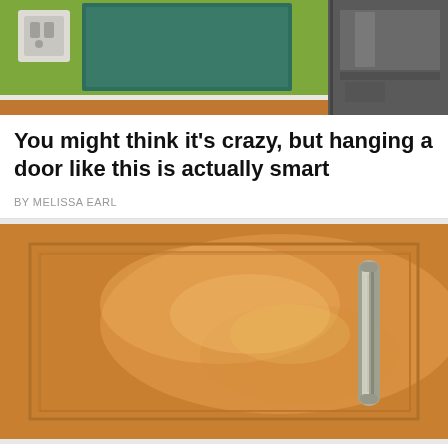[Figure (photo): Top portion of a kitchen showing a green wall with an electrical outlet, a teal/green panel, and a stainless steel appliance on the right, with wood flooring visible at the bottom.]
You might think it's crazy, but hanging a door like this is actually smart
BY MELISSA EARL
[Figure (photo): Close-up photo of a greasy kitchen cabinet door made of light wood with a brushed nickel bar handle on the right side. The door surface shows grease and fingerprint smudges.]
Getting grease off cabinet doors was a pain until she showed off this simple trick